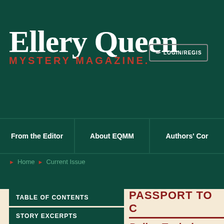THE WORLD'S LEADING MYSTERY MAGAZINE
ELLERY QUEEN MYSTERY MAGAZINE.
LOGIN/REGIS
From the Editor
About EQMM
Authors' Cor
Home  Current Issue
TABLE OF CONTENTS
STORY EXCERPTS
THE JURY BOX
PASSPORT TO C
Police Techniqu